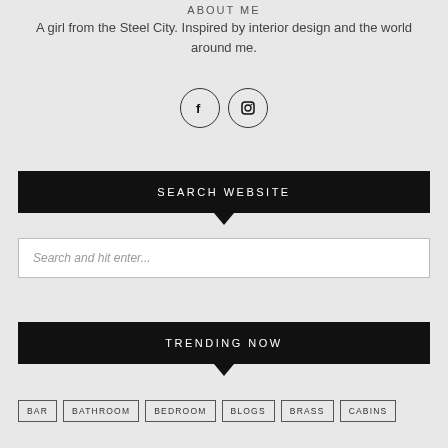ABOUT ME
A girl from the Steel City. Inspired by interior design and the world around me.
[Figure (illustration): Two circular social media icons side by side: a Facebook icon (f) and an Instagram camera icon, both with circular borders.]
SEARCH WEBSITE
Search and hit enter...
TRENDING NOW
BAR
BATHROOM
BEDROOM
BLOGS
BRASS
CABINS